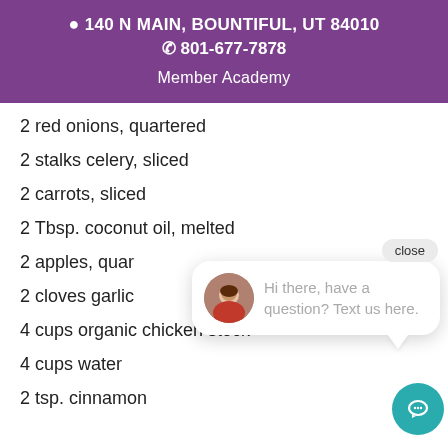140 N MAIN, BOUNTIFUL, UT 84010
801-677-7878
Member Academy
2 red onions, quartered
2 stalks celery, sliced
2 carrots, sliced
2 Tbsp. coconut oil, melted
2 apples, quar[tered]
2 cloves garlic
4 cups organic chicken stock
4 cups water
2 tsp. cinnamon
[Figure (screenshot): Chat popup widget with avatar photo of a woman and text 'Hi there, have a question? Text us here.' with a close button and teal chat FAB button.]